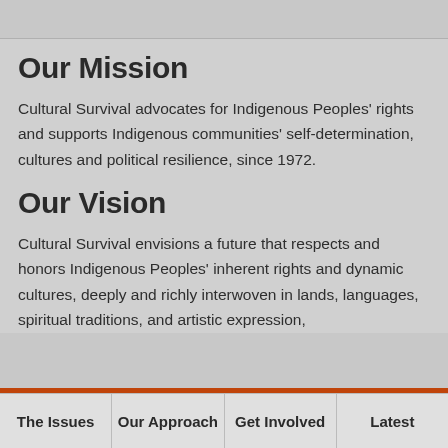Our Mission
Cultural Survival advocates for Indigenous Peoples' rights and supports Indigenous communities' self-determination, cultures and political resilience, since 1972.
Our Vision
Cultural Survival envisions a future that respects and honors Indigenous Peoples' inherent rights and dynamic cultures, deeply and richly interwoven in lands, languages, spiritual traditions, and artistic expression,
The Issues  Our Approach  Get Involved  Latest